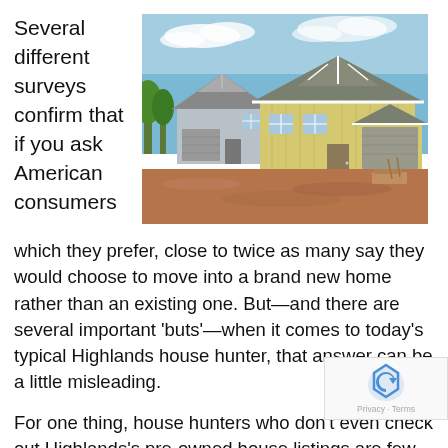Several different surveys confirm that if you ask American consumers
[Figure (photo): Two newly constructed homes under construction with yellow/cream siding, gray roofs, garages, and red clay dirt in the foreground under a blue sky.]
which they prefer, close to twice as many say they would choose to move into a brand new home rather than an existing one. But—and there are several important 'buts'—when it comes to today's typical Highlands house hunter, that answer can be a little misleading.

For one thing, house hunters who don't even check out Highlands's pre-owned house listings are few and far